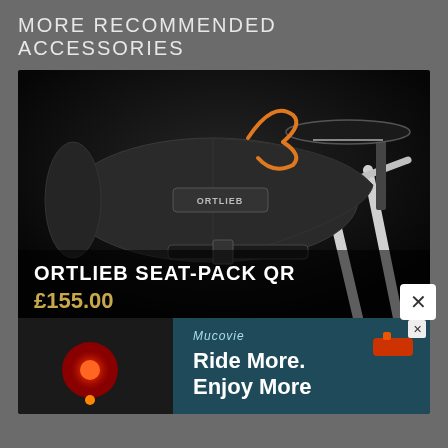MORE RECOMMENDED ACCESSORIES
[Figure (photo): Ortlieb Seat-Pack QR bicycle saddle bag mounted under a bike seat, black waterproof roll-top bag with orange strap detail and ORTLIEB logo, dark background]
ORTLIEB SEAT-PACK QR
£155.00
[Figure (photo): Advertisement banner showing a bicycle rear light in red glow with text 'Ride More. Enjoy More' and Mucovie branding, with a close X button overlay]